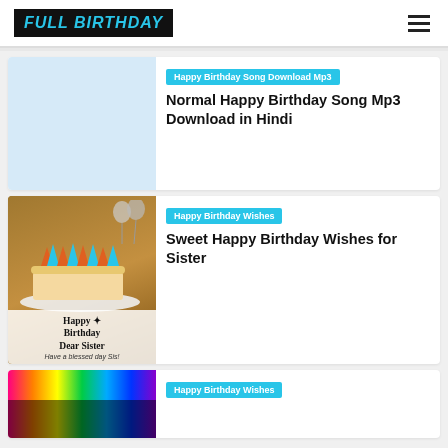FULL BIRTHDAY
[Figure (photo): Light blue placeholder thumbnail for birthday song article]
Happy Birthday Song Download Mp3
Normal Happy Birthday Song Mp3 Download in Hindi
[Figure (photo): Birthday cake with colorful meringue decorations and balloons, with text overlay: Happy Birthday Dear Sister / Have a blessed day Sis!]
Happy Birthday Wishes
Sweet Happy Birthday Wishes for Sister
[Figure (photo): Colorful glitter rainbow background birthday wishes image]
Happy Birthday Wishes